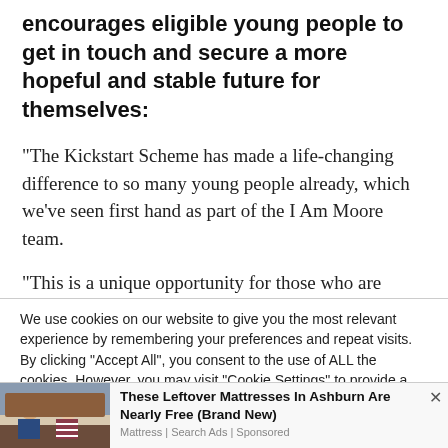encourages eligible young people to get in touch and secure a more hopeful and stable future for themselves:
“The Kickstart Scheme has made a life-changing difference to so many young people already, which we’ve seen first hand as part of the I Am Moore team.
“This is a unique opportunity for those who are eligible and...
We use cookies on our website to give you the most relevant experience by remembering your preferences and repeat visits. By clicking “Accept All”, you consent to the use of ALL the cookies. However, you may visit "Cookie Settings" to provide a controlled consent.
These Leftover Mattresses In Ashburn Are Nearly Free (Brand New)
Mattress | Search Ads | Sponsored